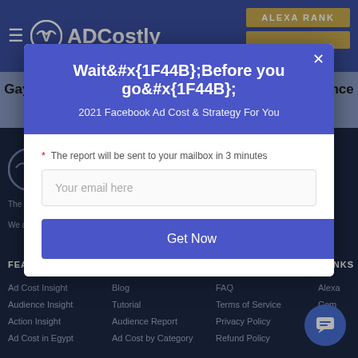ADCostly — navigation bar with hamburger menu, logo, brand name, and Alexa Rank button
Gay, Lesbian, Bisexual, Transgender, Straight Alliance Facebook Ad Cost Report | ADCostly
[Figure (screenshot): Modal popup dialog with header 'Wait Before you go!' and subtitle '2021 Facebook Ad Cost & Strategy For You', email input field, and 'Get Now' button]
The Best
We are ... experience
FEATU
LINKS
Ad Cost Insight
Blog
FAQ
Alexa
Audience Insight
Tutorial
Terms of Service
Com
Action Insight
Audience Report
Privacy Policy
y R
Ad Cost in Egypt
Ad Cost by Category
Refund Policy
Find